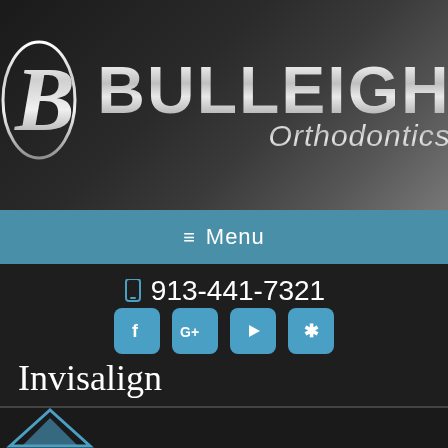[Figure (logo): Bulleigh Orthodontics logo with stylized B letter mark and silver metallic text on dark gradient background]
≡ Menu
📱 913-441-7321
📍 3 Convenient Locations
[Figure (infographic): Four social media icon buttons in blue: Facebook (f), Google+ (G+), YouTube (play button), Yelp (asterisk/star)]
Invisalign